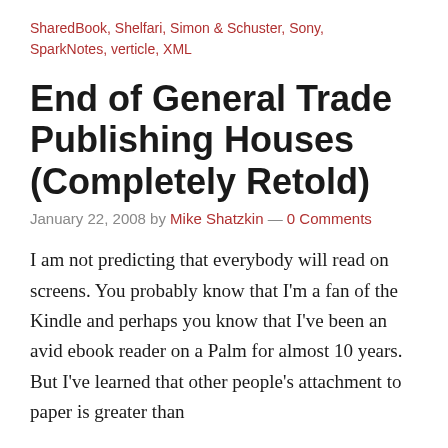SharedBook, Shelfari, Simon & Schuster, Sony, SparkNotes, verticle, XML
End of General Trade Publishing Houses (Completely Retold)
January 22, 2008 by Mike Shatzkin — 0 Comments
I am not predicting that everybody will read on screens. You probably know that I'm a fan of the Kindle and perhaps you know that I've been an avid ebook reader on a Palm for almost 10 years. But I've learned that other people's attachment to paper is greater than